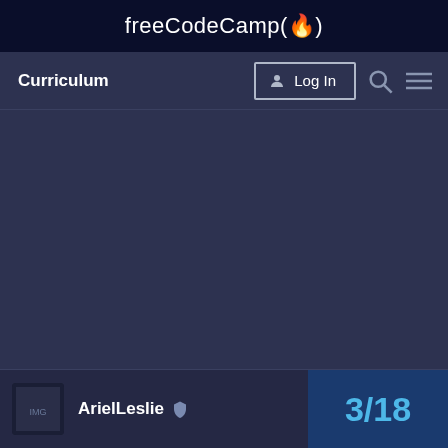freeCodeCamp(🔥)
Curriculum
Log In
ArielLeslie
3/18